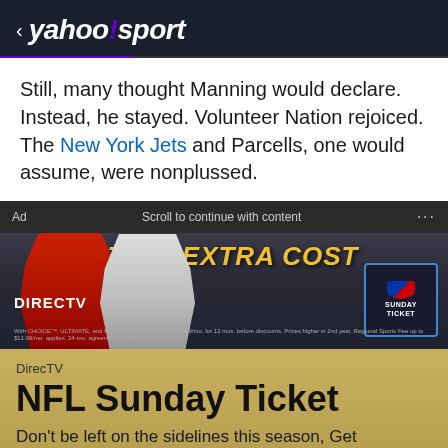< yahoo!sport
Still, many thought Manning would declare. Instead, he stayed. Volunteer Nation rejoiced. The New York Jets and Parcells, one would assume, were nonplussed.
Ad   Scroll to continue with content   ...
[Figure (photo): DIRECTV NFL Sunday Ticket advertisement showing two NFL players (one in red Chiefs jersey, one in white Cowboys jersey) with text 'AT NO EXTRA COST' in gold, NFL Sunday Ticket badge, and DirecTV branding with fine print.]
DirecTV
NFL Sunday Ticket
Don't be left on the sidelines this season, Get